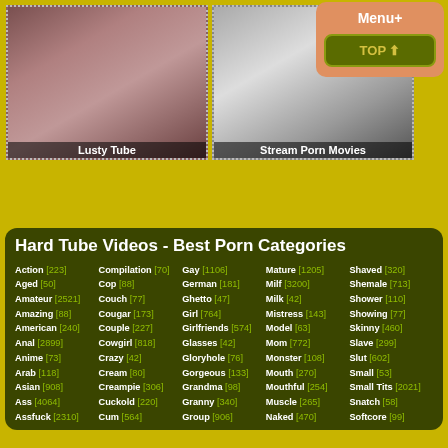[Figure (screenshot): Two adult website thumbnail images side by side labeled Lusty Tube and Stream Porn Movies, with a Menu+ button and TOP arrow overlay button in the top right]
Lusty Tube
Stream Porn Movies
Hard Tube Videos - Best Porn Categories
Action [223]
Aged [50]
Amateur [2521]
Amazing [88]
American [240]
Anal [2899]
Anime [73]
Arab [118]
Asian [908]
Ass [4064]
Assfuck [2310]
Compilation [70]
Cop [88]
Couch [77]
Cougar [173]
Couple [227]
Cowgirl [818]
Crazy [42]
Cream [80]
Creampie [306]
Cuckold [220]
Cum [564]
Gay [1106]
German [181]
Ghetto [47]
Girl [764]
Girlfriends [574]
Glasses [42]
Gloryhole [76]
Gorgeous [133]
Grandma [98]
Granny [340]
Group [906]
Mature [1205]
Milf [3200]
Milk [42]
Mistress [143]
Model [63]
Mom [772]
Monster [108]
Mouth [270]
Mouthful [254]
Muscle [265]
Naked [470]
Shaved [320]
Shemale [713]
Shower [110]
Showing [77]
Skinny [460]
Slave [299]
Slut [602]
Small [53]
Small Tits [2021]
Snatch [58]
Softcore [99]